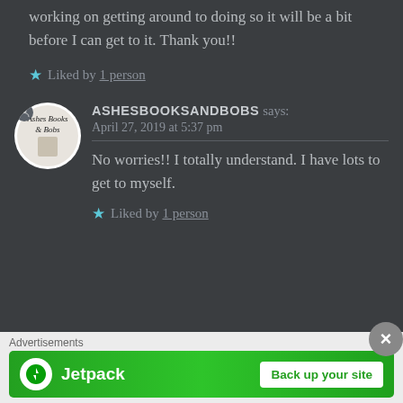working on getting around to doing so it will be a bit before I can get to it. Thank you!!
Liked by 1 person
ASHESBOOKSANDBOBS says: April 27, 2019 at 5:37 pm
No worries!! I totally understand. I have lots to get to myself.
Liked by 1 person
[Figure (other): Jetpack advertisement banner with logo and 'Back up your site' button]
Advertisements